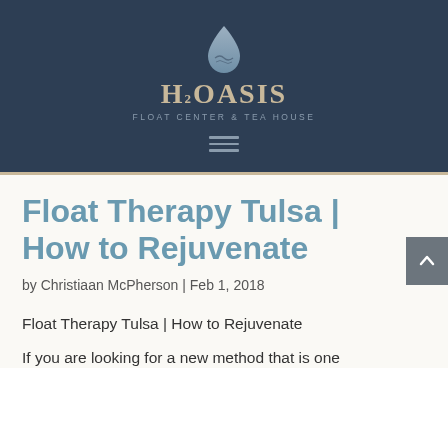[Figure (logo): H2Oasis Float Center & Tea House logo with water drop icon on dark navy background]
Float Therapy Tulsa | How to Rejuvenate
by Christiaan McPherson | Feb 1, 2018
Float Therapy Tulsa | How to Rejuvenate
If you are looking for a new method that is one